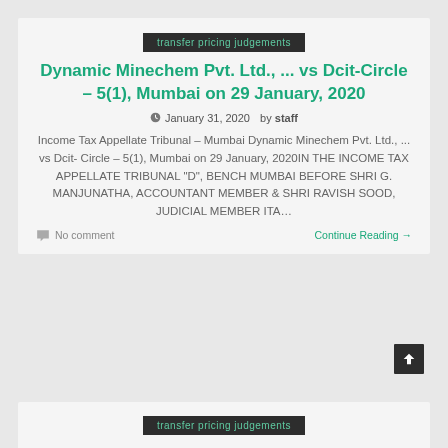transfer pricing judgements
Dynamic Minechem Pvt. Ltd., ... vs Dcit- Circle – 5(1), Mumbai on 29 January, 2020
January 31, 2020   by staff
Income Tax Appellate Tribunal – Mumbai Dynamic Minechem Pvt. Ltd., ... vs Dcit- Circle – 5(1), Mumbai on 29 January, 2020IN THE INCOME TAX APPELLATE TRIBUNAL "D", BENCH MUMBAI BEFORE SHRI G. MANJUNATHA, ACCOUNTANT MEMBER & SHRI RAVISH SOOD, JUDICIAL MEMBER ITA...
No comment
Continue Reading →
transfer pricing judgements